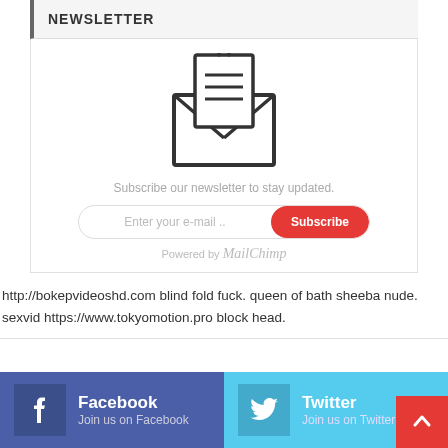NEWSLETTER
[Figure (illustration): Envelope icon with a document/letter inside and a small pin/clip at the top]
Subscribe our newsletter to stay updated.
Enter your e-mail .. [Subscribe button] Powered by MailChimp
http://bokepvideoshd.com blind fold fuck. queen of bath sheeba nude. sexvid https://www.tokyomotion.pro block head.
Facebook Join us on Facebook
Twitter Join us on Twitter